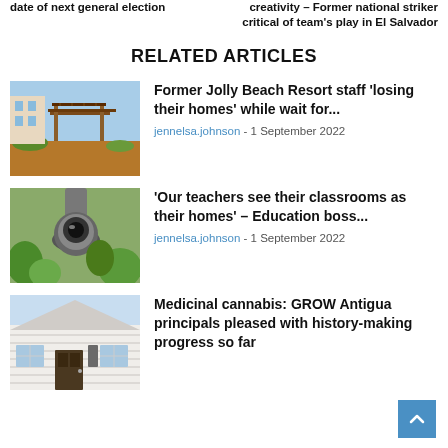date of next general election
creativity – Former national striker critical of team's play in El Salvador
RELATED ARTICLES
[Figure (photo): Outdoor resort area with pergola and red brick path]
Former Jolly Beach Resort staff 'losing their homes' while wait for...
jennelsa.johnson - 1 September 2022
[Figure (photo): Close-up of a dome security camera mounted on a surface with green foliage behind]
'Our teachers see their classrooms as their homes' – Education boss...
jennelsa.johnson - 1 September 2022
[Figure (photo): Exterior of a white wooden house with dark door]
Medicinal cannabis: GROW Antigua principals pleased with history-making progress so far